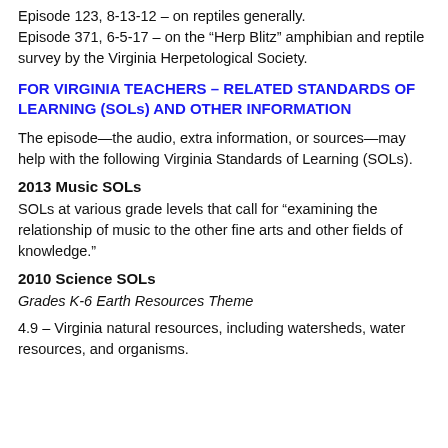Episode 123, 8-13-12 – on reptiles generally.
Episode 371, 6-5-17 – on the “Herp Blitz” amphibian and reptile survey by the Virginia Herpetological Society.
FOR VIRGINIA TEACHERS – RELATED STANDARDS OF LEARNING (SOLs) AND OTHER INFORMATION
The episode—the audio, extra information, or sources—may help with the following Virginia Standards of Learning (SOLs).
2013 Music SOLs
SOLs at various grade levels that call for “examining the relationship of music to the other fine arts and other fields of knowledge.”
2010 Science SOLs
Grades K-6 Earth Resources Theme
4.9 – Virginia natural resources, including watersheds, water resources, and organisms.